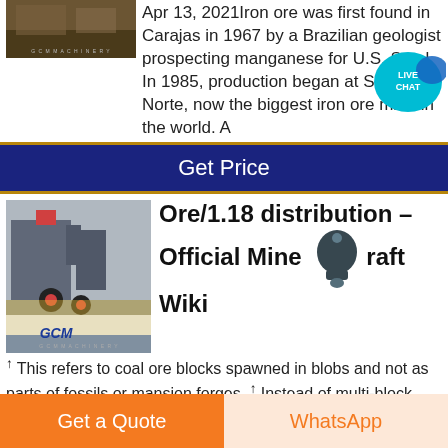[Figure (photo): Industrial machinery photo with GCM Machinery watermark]
Apr 13, 2021 Iron ore was first found in Carajas in 1967 by a Brazilian geologist prospecting manganese for U.S. Steel. In 1985, production began at Serra Norte, now the biggest iron ore mine in the world. A
[Figure (logo): Live Chat bubble icon]
Get Price
[Figure (photo): Large industrial GCM Machinery equipment in factory]
Ore/1.18 distribution – Official Minecraft Wiki
[Figure (illustration): Bell/notification icon]
↑ This refers to coal ore blocks spawned in blobs and not as parts of fossils or mansion forges. ↑ Instead of multi-block blobs, emerald ore
Get a Quote
WhatsApp